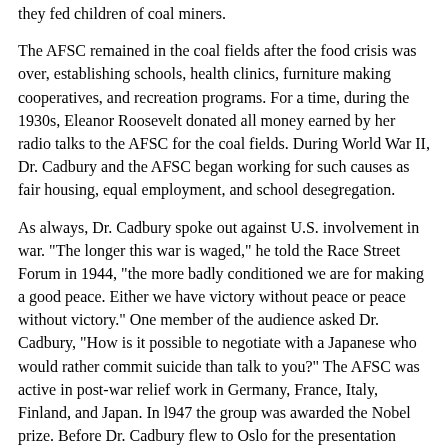they fed children of coal miners.
The AFSC remained in the coal fields after the food crisis was over, establishing schools, health clinics, furniture making cooperatives, and recreation programs. For a time, during the 1930s, Eleanor Roosevelt donated all money earned by her radio talks to the AFSC for the coal fields. During World War II, Dr. Cadbury and the AFSC began working for such causes as fair housing, equal employment, and school desegregation.
As always, Dr. Cadbury spoke out against U.S. involvement in war. "The longer this war is waged," he told the Race Street Forum in 1944, "the more badly conditioned we are for making a good peace. Either we have victory without peace or peace without victory." One member of the audience asked Dr. Cadbury, "How is it possible to negotiate with a Japanese who would rather commit suicide than talk to you?" The AFSC was active in post-war relief work in Germany, France, Italy, Finland, and Japan. In l947 the group was awarded the Nobel prize. Before Dr. Cadbury flew to Oslo for the presentation ceremony, he was advised that he would need a full-dress suit. Since he did not own one, and wasn't particularly anxious to buy a suit with tails, Dr. Cadbury appealed to the Friends warehouse at 23d and Arch sts. He managed to find one. It wasn't a perfect fit, but with pressing, the suit was adequate for the occasion.